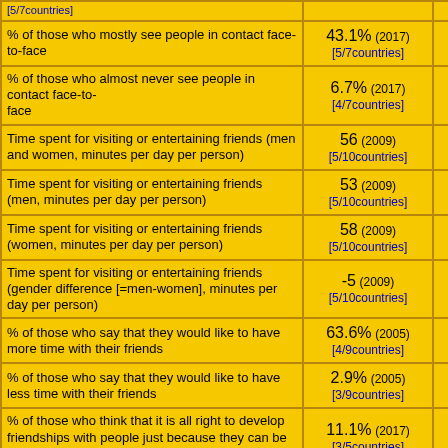| Indicator | Value |  |
| --- | --- | --- |
| % of those who mostly see people in contact face-to-face | 43.1% (2017) [5/7countries] |  |
| % of those who almost never see people in contact face-to-face | 6.7% (2017) [4/7countries] |  |
| Time spent for visiting or entertaining friends (men and women, minutes per day per person) | 56 (2009) [5/10countries] |  |
| Time spent for visiting or entertaining friends (men, minutes per day per person) | 53 (2009) [5/10countries] |  |
| Time spent for visiting or entertaining friends (women, minutes per day per person) | 58 (2009) [5/10countries] |  |
| Time spent for visiting or entertaining friends (gender difference [=men-women], minutes per day per person) | -5 (2009) [5/10countries] |  |
| % of those who say that they would like to have more time with their friends | 63.6% (2005) [4/9countries] |  |
| % of those who say that they would like to have less time with their friends | 2.9% (2005) [3/9countries] |  |
| % of those who think that it is all right to develop friendships with people just because they can be of use | 11.1% (2017) [3/5countries] |  |
| % of those who think that they should prioritize friendship over justice | 24.6% (1998) [4/8countries] |  |
| % of those who would prioritize friendship over justice | 32.2% (1998) [1/9countries] |  |